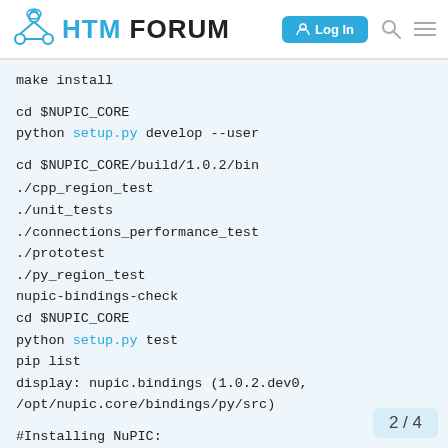HTM FORUM
make install

cd $NUPIC_CORE
python setup.py develop --user

cd $NUPIC_CORE/build/1.0.2/bin
./cpp_region_test
./unit_tests
./connections_performance_test
./prototest
./py_region_test
nupic-bindings-check
cd $NUPIC_CORE
python setup.py test
pip list
display: nupic.bindings (1.0.2.dev0,
/opt/nupic.core/bindings/py/src)

#Installing NuPIC:
2 / 4